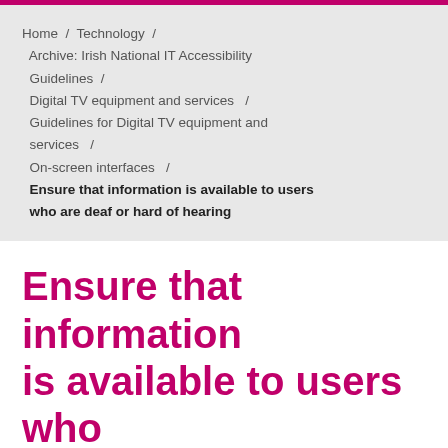Home / Technology / Archive: Irish National IT Accessibility Guidelines / Digital TV equipment and services / Guidelines for Digital TV equipment and services / On-screen interfaces / Ensure that information is available to users who are deaf or hard of hearing
Ensure that information is available to users who are deaf or hard of hearing